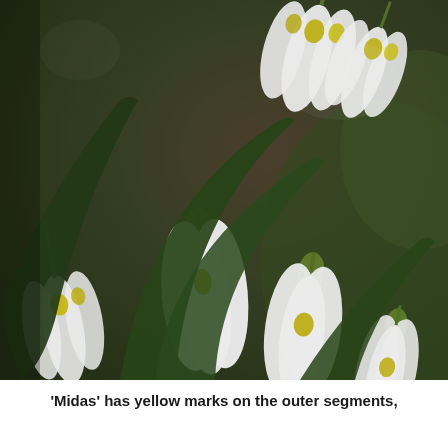[Figure (photo): Close-up photograph of snowdrop flowers (Galanthus 'Midas') with white drooping bell-shaped blooms showing yellow markings on outer segments, with green leaves and stems against a blurred green and brown background.]
'Midas' has yellow marks on the outer segments,